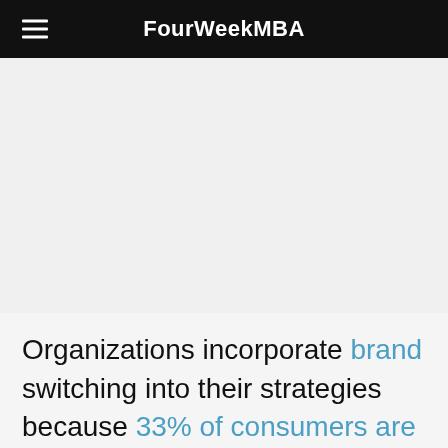FourWeekMBA
[Figure (other): Large image placeholder area (blank/light grey content area)]
Organizations incorporate brand switching into their strategies because 33% of consumers are